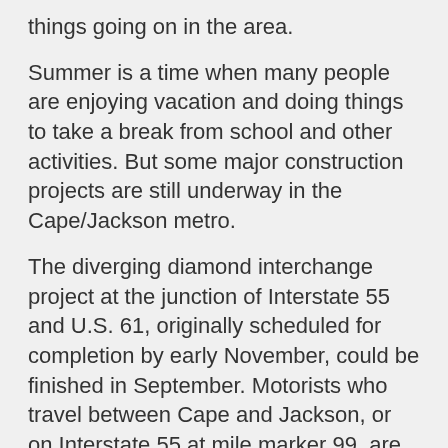things going on in the area.
Summer is a time when many people are enjoying vacation and doing things to take a break from school and other activities. But some major construction projects are still underway in the Cape/Jackson metro.
The diverging diamond interchange project at the junction of Interstate 55 and U.S. 61, originally scheduled for completion by early November, could be finished in September. Motorists who travel between Cape and Jackson, or on Interstate 55 at mile marker 99, are anxiously awaiting the full opening of the intersection.
After a delay because of difficulty getting roofing materials, the $12 million new City Hall project along Lorimier Street is back on track. In late 2019, the city approved a design-build agreement with Penzel Construction Co., in partnership with architectural firm TreanorHL, to redevelop the 165-year-old Common Pleas Courthouse and adjacent Annex and construct a